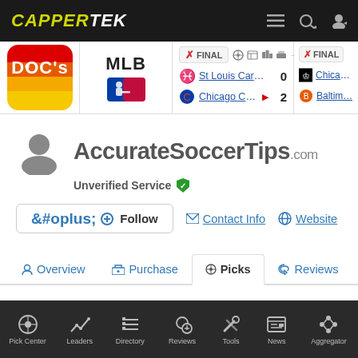CAPPERTEK navigation bar
[Figure (screenshot): Scores bar showing MLB scores: St Louis Cardinals 0, Chicago Cubs 2 (FINAL); partial view of Chicago White Sox vs Baltimore Orioles]
AccurateSoccerTips.com
Unverified Service
Follow | Contact Info | Website
Overview | Purchase | Picks | Reviews
Pick Center | Leaders | Directory | Reviews | Tools | News | Aggregator